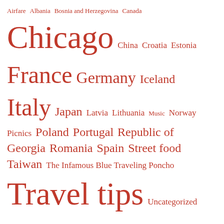[Figure (infographic): Tag cloud with travel-related terms in varying sizes, all in red/burnt-orange color. Larger terms indicate more posts: Chicago, France, Italy, Travel tips, UNESCO World Heritage Sites, USA are largest.]
THIS BLOG HAS BEEN FEATURED ON FRESHLY PRESSED!
[Figure (logo): WordPress 'Featured on Freshly Pressed' badge — blue rectangle with WordPress W logo and text 'FEATURED ON Freshly Pressed']
TOP POSTS & PAGES
Funniest travel moments of 2018